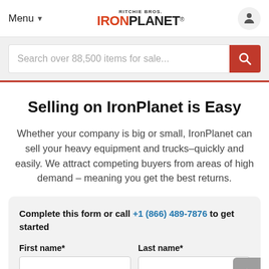Menu | RITCHIE BROS. IRONPLANET | User icon
Search over 88,500 items for sale...
Selling on IronPlanet is Easy
Whether your company is big or small, IronPlanet can sell your heavy equipment and trucks–quickly and easily. We attract competing buyers from areas of high demand – meaning you get the best returns.
Complete this form or call +1 (866) 489-7876 to get started
First name* | Last name*